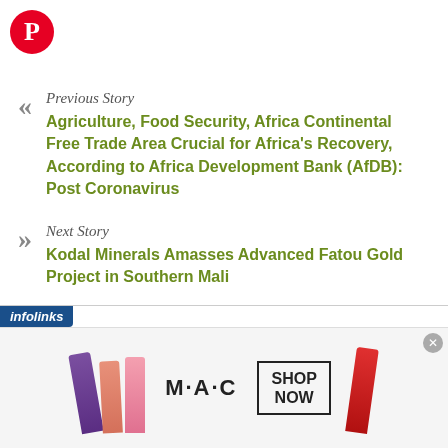[Figure (logo): Pinterest logo — red circle with white 'P' pin icon]
Previous Story
Agriculture, Food Security, Africa Continental Free Trade Area Crucial for Africa's Recovery, According to Africa Development Bank (AfDB): Post Coronavirus
Next Story
Kodal Minerals Amasses Advanced Fatou Gold Project in Southern Mali
[Figure (screenshot): Infolinks advertisement banner featuring MAC Cosmetics lipsticks with 'SHOP NOW' button]